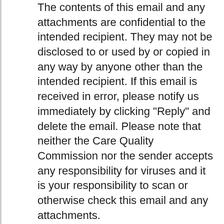The contents of this email and any attachments are confidential to the intended recipient. They may not be disclosed to or used by or copied in any way by anyone other than the intended recipient. If this email is received in error, please notify us immediately by clicking "Reply" and delete the email. Please note that neither the Care Quality Commission nor the sender accepts any responsibility for viruses and it is your responsibility to scan or otherwise check this email and any attachments.

Any views expressed in this message are those of the individual sender, except where the sender specifically states them to be the views of the